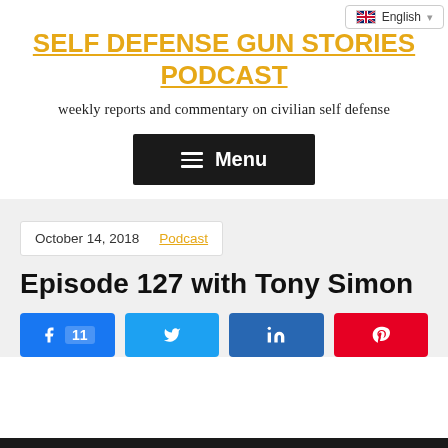English
SELF DEFENSE GUN STORIES PODCAST
weekly reports and commentary on civilian self defense
Menu
October 14, 2018   Podcast
Episode 127 with Tony Simon
Share buttons: Facebook 11, Twitter, LinkedIn, Pinterest